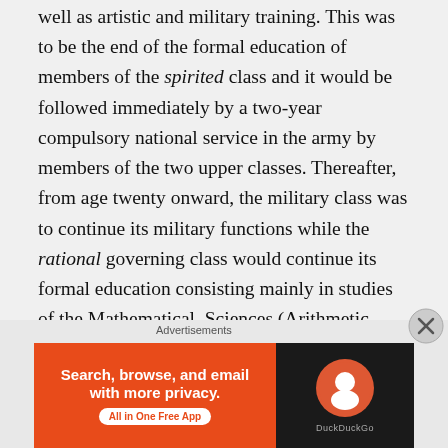well as artistic and military training. This was to be the end of the formal education of members of the spirited class and it would be followed immediately by a two-year compulsory national service in the army by members of the two upper classes. Thereafter, from age twenty onward, the military class was to continue its military functions while the rational governing class would continue its formal education consisting mainly in studies of the Mathematical, Sciences (Arithmetic, Geometry, Astronomy and Harmonies) and Dialectic, (Philosophy), up till the age of fifty when members of, the class could be required to begin their active service to the state as philosopher-rulers, devoted mainly to a life of contemplation, apparently the best life of all. All along, the two upper
[Figure (other): DuckDuckGo advertisement banner: orange left panel with text 'Search, browse, and email with more privacy. All in One Free App' and dark right panel with DuckDuckGo logo]